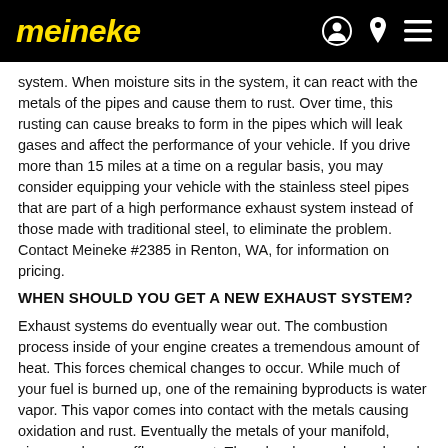meineke
system. When moisture sits in the system, it can react with the metals of the pipes and cause them to rust. Over time, this rusting can cause breaks to form in the pipes which will leak gases and affect the performance of your vehicle. If you drive more than 15 miles at a time on a regular basis, you may consider equipping your vehicle with the stainless steel pipes that are part of a high performance exhaust system instead of those made with traditional steel, to eliminate the problem. Contact Meineke #2385 in Renton, WA, for information on pricing.
WHEN SHOULD YOU GET A NEW EXHAUST SYSTEM?
Exhaust systems do eventually wear out. The combustion process inside of your engine creates a tremendous amount of heat. This forces chemical changes to occur. While much of your fuel is burned up, one of the remaining byproducts is water vapor. This vapor comes into contact with the metals causing oxidation and rust. Eventually the metals of your manifold, pipes, and car muffler wear out. They develop cracks and weak spots. You may hear loud engine noises or notice an odor as you drive. Fixing the problem may require an aftermarket exhaust or even a custom exhaust system to be installed. If you are experiencing any of these warning signs, contact our in Renton WA, and have your vehicle inspected.